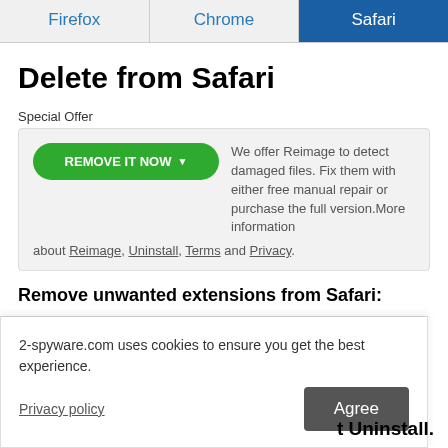| Firefox | Chrome | Safari |
| --- | --- | --- |
Delete from Safari
Special Offer
REMOVE IT NOW ▼  We offer Reimage to detect damaged files. Fix them with either free manual repair or purchase the full version.More information about Reimage, Uninstall, Terms and Privacy.
Remove unwanted extensions from Safari:
1. Click Safari > Preferences...
2-spyware.com uses cookies to ensure you get the best experience.
Privacy policy
Agree
t Uninstall.